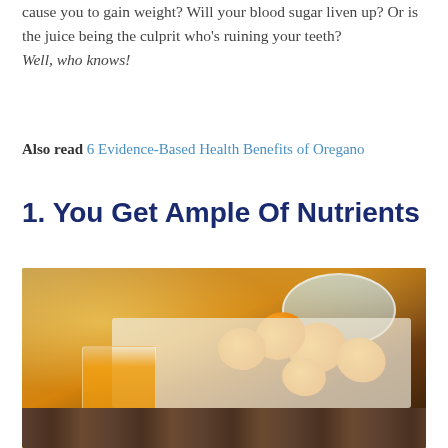cause you to gain weight? Will your blood sugar liven up? Or is the juice being the culprit who's ruining your teeth? Well, who knows!
Also read 6 Evidence-Based Health Benefits of Oregano
1. You Get Ample Of Nutrients
[Figure (photo): A glass of fresh orange juice next to cut orange slices in a container, placed on a wooden surface outdoors.]